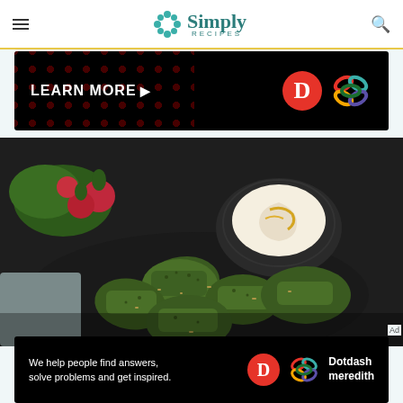Simply Recipes
[Figure (screenshot): Top advertisement banner: black background with dark red polka dots on left, 'LEARN MORE ▶' white text, Dotdash 'D' red circle logo and colorful flower/knot logo on right]
[Figure (photo): Food photo: herb-crusted falafel or green-coated fritters piled on a dark plate, with a small bowl of creamy dipping sauce swirled with olive oil, radishes and greens in background]
Ad
[Figure (screenshot): Bottom advertisement banner: black background, white text 'We help people find answers, solve problems and get inspired.' with Dotdash 'D' logo and colorful flower logo, plus 'Dotdash meredith' text in white]